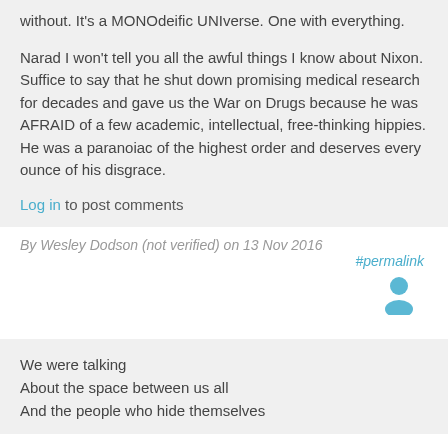without. It's a MONOdeific UNIverse. One with everything.
Narad I won't tell you all the awful things I know about Nixon. Suffice to say that he shut down promising medical research for decades and gave us the War on Drugs because he was AFRAID of a few academic, intellectual, free-thinking hippies. He was a paranoiac of the highest order and deserves every ounce of his disgrace.
Log in to post comments
By Wesley Dodson (not verified) on 13 Nov 2016
#permalink
[Figure (illustration): User avatar icon - blue person silhouette]
We were talking
About the space between us all
And the people who hide themselves